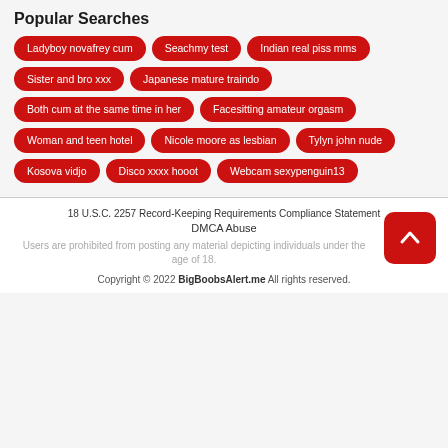Popular Searches
Ladyboy novafrey cum
Seachmy test
Indian real piss mms
Sister and bro xxx
Japanese mature traindo
Both cum at the same time in her
Facesitting amateur orgasm
Woman and teen hotel
Nicole moore as lesbian
Tylyn john nude
Kosova vidjo
Disco xxxx hooot
Webcam sexypenguin13
18 U.S.C. 2257 Record-Keeping Requirements Compliance Statement
DMCA Abuse
Users are prohibited from posting any material depicting individuals under the age of 18.
Copyright © 2022 BigBoobsAlert.me All rights reserved.